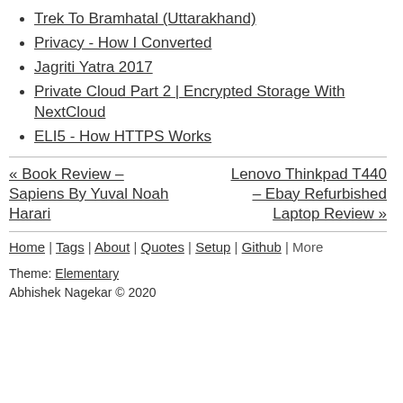Trek To Bramhatal (Uttarakhand)
Privacy - How I Converted
Jagriti Yatra 2017
Private Cloud Part 2 | Encrypted Storage With NextCloud
ELI5 - How HTTPS Works
« Book Review – Sapiens By Yuval Noah Harari
Lenovo Thinkpad T440 – Ebay Refurbished Laptop Review »
Home | Tags | About | Quotes | Setup | Github | More
Theme: Elementary
Abhishek Nagekar © 2020